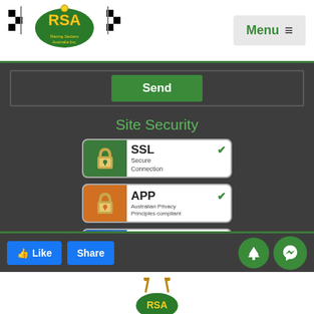[Figure (logo): Racing Sedans Australia Inc. logo with checkered flags and Australian map]
Menu ≡
Send
Site Security
[Figure (other): SSL Secure Connection badge with padlock icon and green checkmark]
[Figure (other): APP Australian Privacy Principles compliant badge with padlock icon and green checkmark]
[Figure (other): GDPR Compliancies badge with padlock icon, green checkmark and star rating]
👍 Like
Share
[Figure (other): Green circle up arrow button]
[Figure (other): Green circle Messenger button]